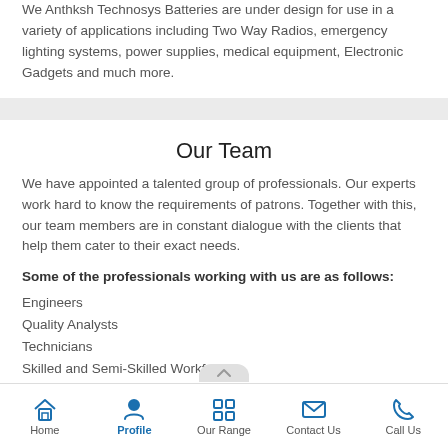We Anthksh Technosys Batteries are under design for use in a variety of applications including Two Way Radios, emergency lighting systems, power supplies, medical equipment, Electronic Gadgets and much more.
Our Team
We have appointed a talented group of professionals. Our experts work hard to know the requirements of patrons. Together with this, our team members are in constant dialogue with the clients that help them cater to their exact needs.
Some of the professionals working with us are as follows:
Engineers
Quality Analysts
Technicians
Skilled and Semi-Skilled Workforce
Home | Profile | Our Range | Contact Us | Call Us